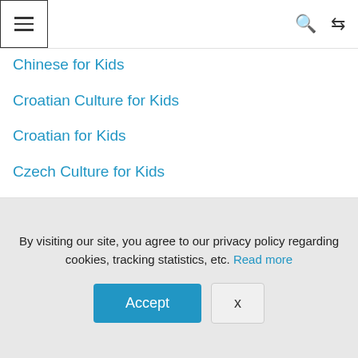Menu | Search | Shuffle
Chinese for Kids
Croatian Culture for Kids
Croatian for Kids
Czech Culture for Kids
Czech for Kids
Danish Culture for Kids
Danish for Kids
Dinolingo
Dinosaur Facts
By visiting our site, you agree to our privacy policy regarding cookies, tracking statistics, etc. Read more